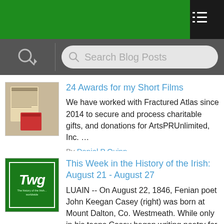[Figure (screenshot): Green top navigation bar with hamburger menu icon on dark right side]
[Figure (screenshot): Search bar with magnifying glass icon and placeholder text 'Search Blog Posts']
24 Awards for my Short Films
We have worked with Fractured Atlas since 2014 to secure and process charitable gifts, and donations for ArtsPRUnlimited, Inc. …
By Daniel P Quinn
yesterday
0   0
This Week in the History of the Irish: August 21 - August 27
LUAIN -- On August 22, 1846, Fenian poet John Keegan Casey (right) was born at Mount Dalton, Co. Westmeath. While only in his teens Casey began writing poetry for The Nation. After teaching in…
By The Wild Geese
yesterday